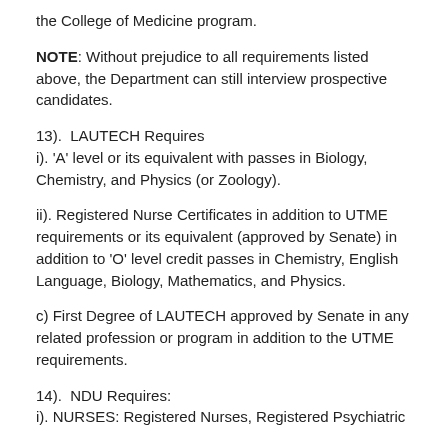the College of Medicine program.
NOTE: Without prejudice to all requirements listed above, the Department can still interview prospective candidates.
13).  LAUTECH Requires
i). 'A' level or its equivalent with passes in Biology, Chemistry, and Physics (or Zoology).
ii). Registered Nurse Certificates in addition to UTME requirements or its equivalent (approved by Senate) in addition to 'O' level credit passes in Chemistry, English Language, Biology, Mathematics, and Physics.
c) First Degree of LAUTECH approved by Senate in any related profession or program in addition to the UTME requirements.
14).  NDU Requires:
i). NURSES: Registered Nurses, Registered Psychiatric